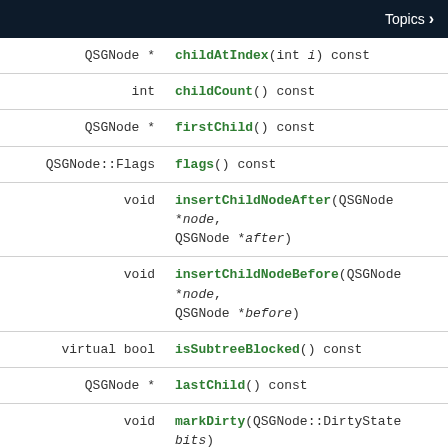Topics >
| Return type | Function |
| --- | --- |
| QSGNode * | childAtIndex(int i) const |
| int | childCount() const |
| QSGNode * | firstChild() const |
| QSGNode::Flags | flags() const |
| void | insertChildNodeAfter(QSGNode *node, QSGNode *after) |
| void | insertChildNodeBefore(QSGNode *node, QSGNode *before) |
| virtual bool | isSubtreeBlocked() const |
| QSGNode * | lastChild() const |
| void | markDirty(QSGNode::DirtyState bits) |
| QSGNode * | nextSibling() const |
| QSGNode * | parent() const |
| void | prependChildNode(QSGNode *node) |
| int | …() |